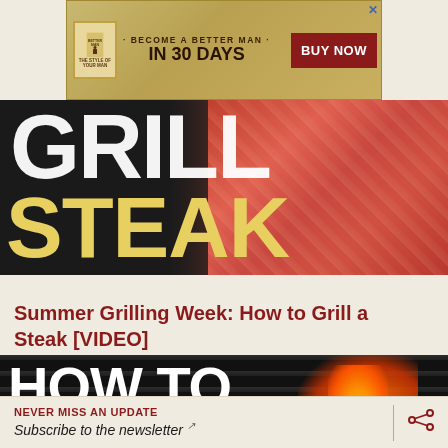[Figure (screenshot): Advertisement banner: 'BECOME A BETTER MAN IN 30 DAYS' with BUY NOW button and close X]
[Figure (photo): Hero image showing text 'GRILL STEAK' overlaid on a raw steak photo with dark background]
Summer Grilling Week: How to Grill a Steak [VIDEO]
[Figure (photo): Hero image showing text 'HOW TO GRILL' overlaid on a grill with fire/flames background]
NEVER MISS AN UPDATE
Subscribe to the newsletter